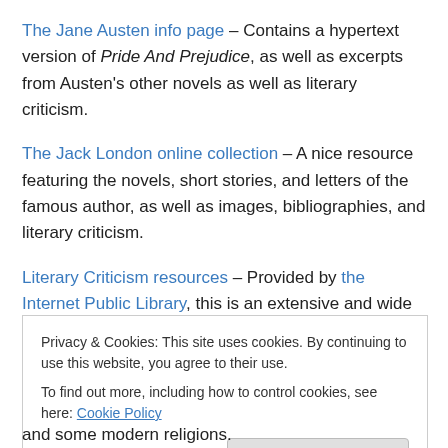The Jane Austen info page – Contains a hypertext version of Pride And Prejudice, as well as excerpts from Austen's other novels as well as literary criticism.
The Jack London online collection – A nice resource featuring the novels, short stories, and letters of the famous author, as well as images, bibliographies, and literary criticism.
Literary Criticism resources – Provided by the Internet Public Library, this is an extensive and wide ranging ... and some modern religions.
Privacy & Cookies: This site uses cookies. By continuing to use this website, you agree to their use. To find out more, including how to control cookies, see here: Cookie Policy